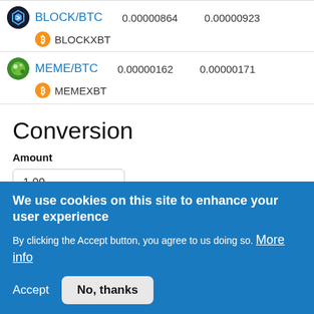| Pair | Value1 | Value2 |
| --- | --- | --- |
| BLOCK/BTC | 0.00000864 | 0.00000923 |
| BLOCKXBT |  |  |
| MEME/BTC | 0.00000162 | 0.00000171 |
| MEMEXBT |  |  |
Conversion
Amount
1.00
We use cookies on this site to enhance your user experience
By clicking the Accept button, you agree to us doing so. More info
Accept   No, thanks